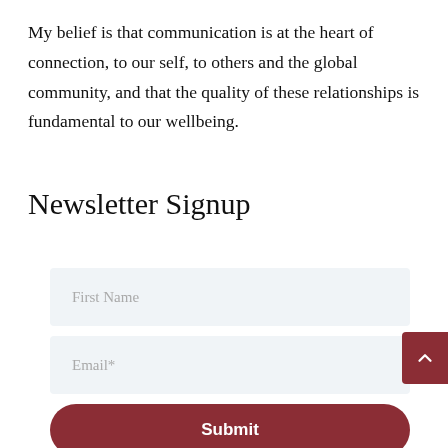My belief is that communication is at the heart of connection, to our self, to others and the global community, and that the quality of these relationships is fundamental to our wellbeing.
Newsletter Signup
First Name
Email*
Submit